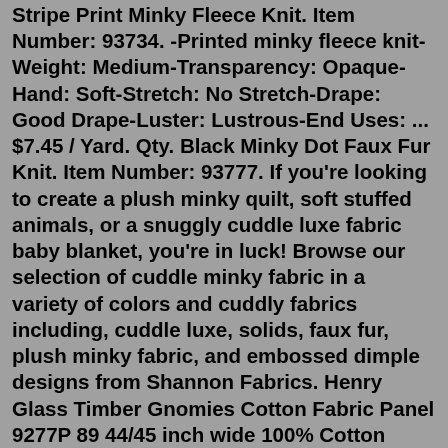Stripe Print Minky Fleece Knit. Item Number: 93734. -Printed minky fleece knit-Weight: Medium-Transparency: Opaque-Hand: Soft-Stretch: No Stretch-Drape: Good Drape-Luster: Lustrous-End Uses: ... $7.45 / Yard. Qty. Black Minky Dot Faux Fur Knit. Item Number: 93777. If you're looking to create a plush minky quilt, soft stuffed animals, or a snuggly cuddle luxe fabric baby blanket, you're in luck! Browse our selection of cuddle minky fabric in a variety of colors and cuddly fabrics including, cuddle luxe, solids, faux fur, plush minky fabric, and embossed dimple designs from Shannon Fabrics. Henry Glass Timber Gnomies Cotton Fabric Panel 9277P 89 44/45 inch wide 100% Cotton Panel measures approx. 24" x 44" Sold by the panel. Will be cut in one continuous length. Sfoglia Cerca articoli o negozi. The best Cotton Cookie Toppings build in the Cookie Run Kingdom would be X5 Swift Chocolate Toppings set to manage CD. Cotton Cookie is more than just a healer; her sheep can inflict DMG and